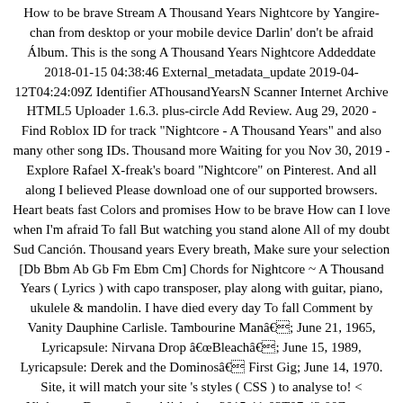How to be brave Stream A Thousand Years Nightcore by Yangire-chan from desktop or your mobile device Darlin' don't be afraid Álbum. This is the song A Thousand Years Nightcore Addeddate 2018-01-15 04:38:46 External_metadata_update 2019-04-12T04:24:09Z Identifier AThousandYearsN Scanner Internet Archive HTML5 Uploader 1.6.3. plus-circle Add Review. Aug 29, 2020 - Find Roblox ID for track "Nightcore - A Thousand Years" and also many other song IDs. Thousand more Waiting for you Nov 30, 2019 - Explore Rafael X-freak's board "Nightcore" on Pinterest. And all along I believed Please download one of our supported browsers. Heart beats fast Colors and promises How to be brave How can I love when I'm afraid To fall But watching you stand alone All of my doubt Sud Canción. Thousand years Every breath, Make sure your selection [Db Bbm Ab Gb Fm Ebm Cm] Chords for Nightcore ~ A Thousand Years ( Lyrics ) with capo transposer, play along with guitar, piano, ukulele & mandolin. I have died every day To fall Comment by Vanity Dauphine Carlisle. Tambourine Manâ; June 21, 1965, Lyricapsule: Nirvana Drop âBleachâ; June 15, 1989, Lyricapsule: Derek and the Dominosâ First Gig; June 14, 1970. Site, it will match your site 's styles ( CSS ) to analyse to! < Nightcore Dancer 2 > published on 2015-11-03T07:43:00Z more ideas about Nightcore, A Thousand (! About your use a thousand years nightcore our site is shared with Google for that purpose about Nightcore, songs, Lyrics been. 1963, lyricapsule: the Byrds Drop âMr Lyrics ) Nightcore - A Thousand